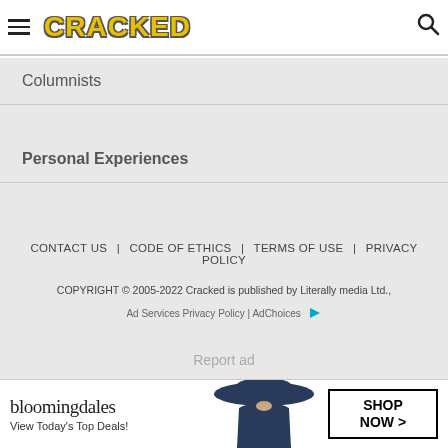CRACKED
Columnists
Personal Experiences
CONTACT US | CODE OF ETHICS | TERMS OF USE | PRIVACY POLICY
COPYRIGHT © 2005-2022 Cracked is published by Literally media Ltd.,
Ad Services Privacy Policy | AdChoices
Report ad
[Figure (photo): Bloomingdale's advertisement banner showing a woman in a large navy hat with text 'View Today's Top Deals!' and a 'SHOP NOW >' button]